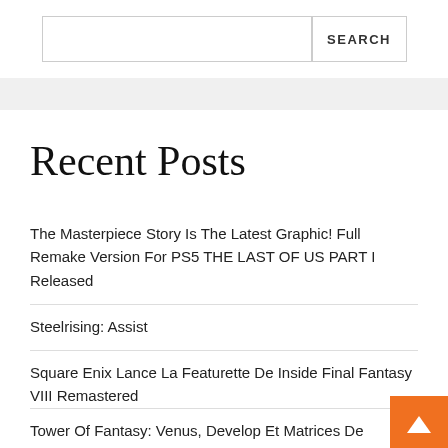SEARCH
Recent Posts
The Masterpiece Story Is The Latest Graphic! Full Remake Version For PS5 THE LAST OF US PART I Released
Steelrising: Assist
Square Enix Lance La Featurette De Inside Final Fantasy VIII Remastered
Tower Of Fantasy: Venus, Develop Et Matrices De